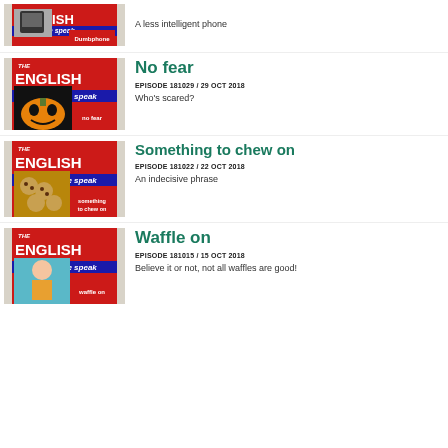[Figure (photo): BBC The English We Speak thumbnail for Dumbphone episode showing a mobile phone]
A less intelligent phone
[Figure (photo): BBC The English We Speak thumbnail for No Fear episode showing a Halloween pumpkin]
No fear
EPISODE 181029 / 29 OCT 2018
Who's scared?
[Figure (photo): BBC The English We Speak thumbnail for Something to chew on episode showing cookies]
Something to chew on
EPISODE 181022 / 22 OCT 2018
An indecisive phrase
[Figure (photo): BBC The English We Speak thumbnail for Waffle on episode showing a child eating]
Waffle on
EPISODE 181015 / 15 OCT 2018
Believe it or not, not all waffles are good!